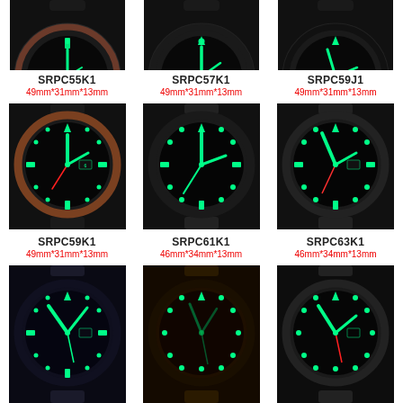[Figure (photo): Top row of three Seiko watch faces glowing green in dark, partially cropped at top]
SRPC55K1
49mm*31mm*13mm
SRPC57K1
49mm*31mm*13mm
SRPC59J1
49mm*31mm*13mm
[Figure (photo): Middle row of three Seiko watch faces glowing green in dark]
SRPC59K1
49mm*31mm*13mm
SRPC61K1
46mm*34mm*13mm
SRPC63K1
46mm*34mm*13mm
[Figure (photo): Bottom row of three Seiko watch faces glowing green in dark]